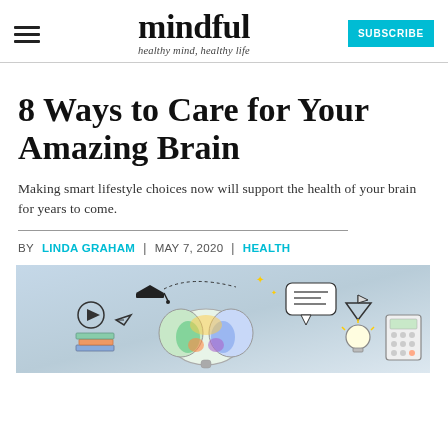mindful — healthy mind, healthy life — SUBSCRIBE
8 Ways to Care for Your Amazing Brain
Making smart lifestyle choices now will support the health of your brain for years to come.
BY LINDA GRAHAM | MAY 7, 2020 | HEALTH
[Figure (illustration): Colorful illustration of a human brain surrounded by various icons representing learning and health: graduation cap, paper airplane, speech bubble, light bulb, calculator, books, and other doodles on a light blue/grey gradient background.]